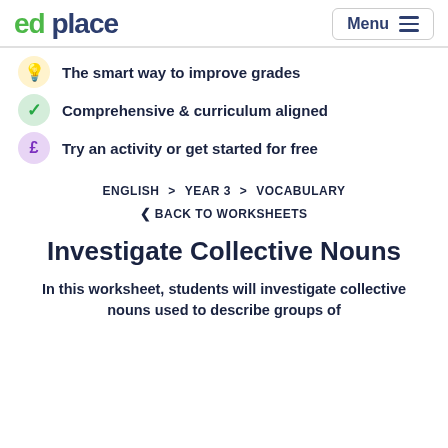ed place | Menu
The smart way to improve grades
Comprehensive & curriculum aligned
Try an activity or get started for free
ENGLISH > YEAR 3 > VOCABULARY
< BACK TO WORKSHEETS
Investigate Collective Nouns
In this worksheet, students will investigate collective nouns used to describe groups of